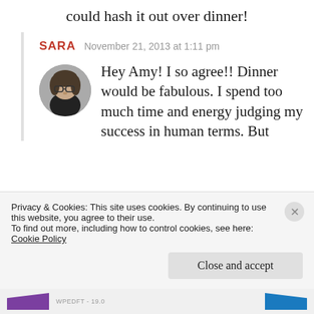could hash it out over dinner!
SARA   November 21, 2013 at 1:11 pm
[Figure (photo): Circular avatar photo of a woman with glasses and dark hair wearing a black top]
Hey Amy! I so agree!! Dinner would be fabulous. I spend too much time and energy judging my success in human terms. But
Privacy & Cookies: This site uses cookies. By continuing to use this website, you agree to their use.
To find out more, including how to control cookies, see here:
Cookie Policy
Close and accept